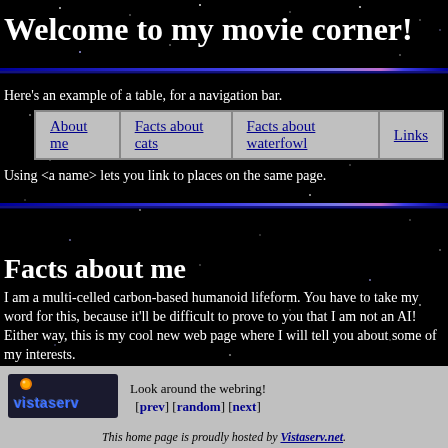Welcome to my movie corner!
Here's an example of a table, for a navigation bar.
| About me | Facts about cats | Facts about waterfowl | Links |
Using <a name> lets you link to places on the same page.
Facts about me
I am a multi-celled carbon-based humanoid lifeform. You have to take my word for this, because it'll be difficult to prove to you that I am not an AI! Either way, this is my cool new web page where I will tell you about some of my interests.
I created thi... zard. It makes it rea...
[Figure (logo): Vistaserv logo with text 'vistaserv' in blue 3D letters on dark background with orange icon]
Look around the webring! [prev] [random] [next]
This home page is proudly hosted by Vistaserv.net.